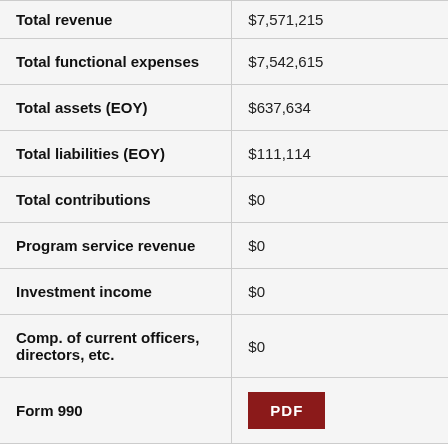| Field | Value |
| --- | --- |
| Total revenue | $7,571,215 |
| Total functional expenses | $7,542,615 |
| Total assets (EOY) | $637,634 |
| Total liabilities (EOY) | $111,114 |
| Total contributions | $0 |
| Program service revenue | $0 |
| Investment income | $0 |
| Comp. of current officers, directors, etc. | $0 |
| Form 990 | PDF |